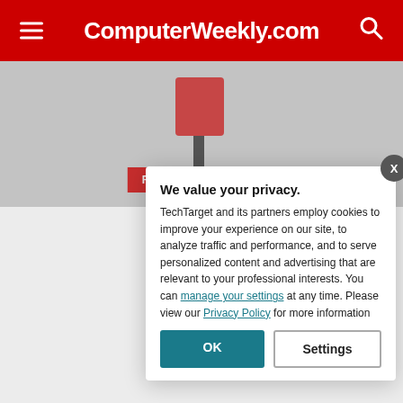ComputerWeekly.com
[Figure (photo): Photo of a device mounted on a wall with a 'Read more here' red button overlay]
In total, CERN o... accelerators and...
CERN is funded... is currently the w... as well as aroun...
2. When was... been its achi...
Founded in 1954... pedigree. It has... and it is the plac...
We value your privacy. TechTarget and its partners employ cookies to improve your experience on our site, to analyze traffic and performance, and to serve personalized content and advertising that are relevant to your professional interests. You can manage your settings at any time. Please view our Privacy Policy for more information